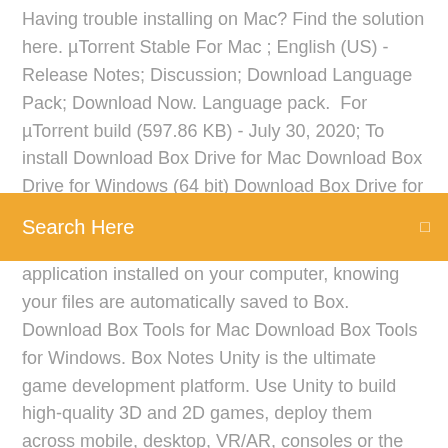Having trouble installing on Mac? Find the solution here. µTorrent Stable For Mac ; English (US) - Release Notes; Discussion; Download Language Pack; Download Now. Language pack. For µTorrent build (597.86 KB) - July 30, 2020; To install Download Box Drive for Mac Download Box Drive for Windows (64 bit) Download Box Drive for Windows (32 bit) Box
Search Here
application installed on your computer, knowing your files are automatically saved to Box. Download Box Tools for Mac Download Box Tools for Windows. Box Notes Unity is the ultimate game development platform. Use Unity to build high-quality 3D and 2D games, deploy them across mobile, desktop, VR/AR, consoles or the Web, and connect with loyal and enthusiastic players and customers. Download BOTIM For Mac or PC. Download macOS Version Other Platform Download Windows Version Download Linux Version. botim. Web Version; Download; FAQ For Windows 7 and earlier, legacy versions of